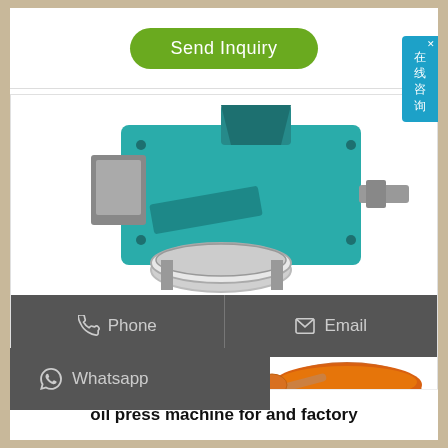[Figure (other): Green rounded button labeled 'Send Inquiry' on white background with horizontal divider line]
[Figure (photo): Industrial oil press machine in teal/green color with stainless steel components, control panel on left side, and oil output spout on right. Soybeans and a bowl of red oil visible at the bottom.]
Phone
Email
Whatsapp
oil press machine for and factory